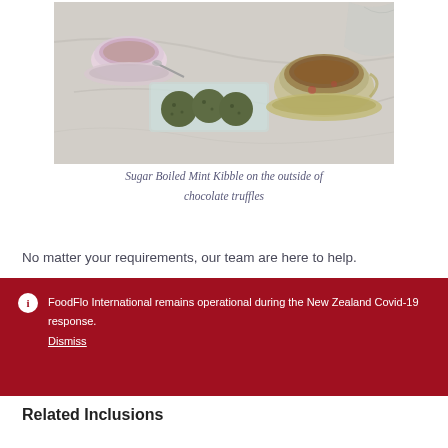[Figure (photo): Photo of sugar boiled mint kibble-coated chocolate truffles on a glass tray alongside vintage floral teacups with tea, on a marble surface]
Sugar Boiled Mint Kibble on the outside of chocolate truffles
No matter your requirements, our team are here to help.
FoodFlo International remains operational during the New Zealand Covid-19 response.
Dismiss
Related Inclusions